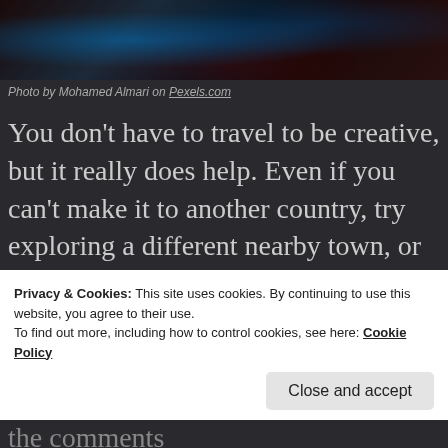[Figure (photo): Dark moody photo with blue and dark red tones, abstract nature scene]
Photo by Mohamed Almari on Pexels.com
You don't have to travel to be creative, but it really does help. Even if you can't make it to another country, try exploring a different nearby town, or visit a neighbourhood in your own town that you've never been to. The important thing is to break out of
Privacy & Cookies: This site uses cookies. By continuing to use this website, you agree to their use.
To find out more, including how to control cookies, see here: Cookie Policy
the comments